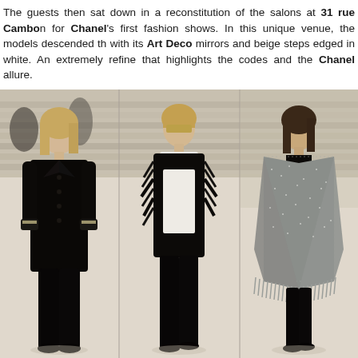The guests then sat down in a reconstitution of the salons at 31 rue Cambon for Chanel's first fashion shows. In this unique venue, the models descended the staircase with its Art Deco mirrors and beige steps edged in white. An extremely refined setting that highlights the codes and the Chanel allure.
[Figure (photo): Three fashion models walking a runway in Chanel outfits. Left model wears a black double-breasted coat with embellished cuffs and black trousers. Center model wears a black feathered/fringed jacket over a white garment with black trousers. Right model wears a grey tweed oversized cape coat with fringe hem over black outfit. Background shows beige stairs reminiscent of the 31 rue Cambon salons.]